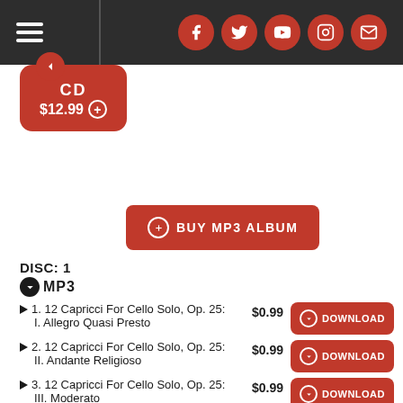[Figure (screenshot): Website top navigation bar with hamburger menu on left and social media icons (Facebook, Twitter, YouTube, Instagram, Email) on right, dark background]
[Figure (other): Red rounded button showing 'CD $12.99 +']
[Figure (other): Red rounded button labeled 'BUY MP3 ALBUM' with plus icon]
DISC: 1
MP3
1. 12 Capricci For Cello Solo, Op. 25: I. Allegro Quasi Presto — $0.99 — DOWNLOAD
2. 12 Capricci For Cello Solo, Op. 25: II. Andante Religioso — $0.99 — DOWNLOAD
3. 12 Capricci For Cello Solo, Op. 25: III. Moderato — $0.99 — DOWNLOAD
4. 12 Capricci For Cello Solo, Op. 25: IV. Allegretto — $0.99 — DOWNLOAD